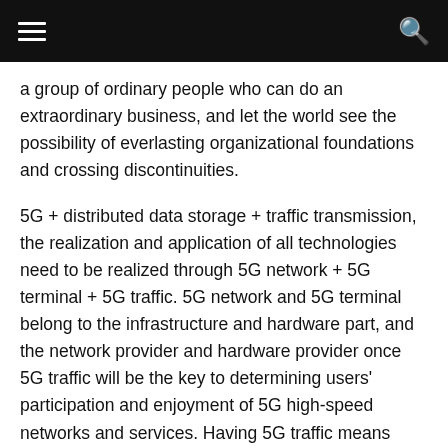a group of ordinary people who can do an extraordinary business, and let the world see the possibility of everlasting organizational foundations and crossing discontinuities.
5G + distributed data storage + traffic transmission, the realization and application of all technologies need to be realized through 5G network + 5G terminal + 5G traffic. 5G network and 5G terminal belong to the infrastructure and hardware part, and the network provider and hardware provider once 5G traffic will be the key to determining users' participation and enjoyment of 5G high-speed networks and services. Having 5G traffic means having tickets for the 5G era.
In the 5G era, traffic storage is just needed!